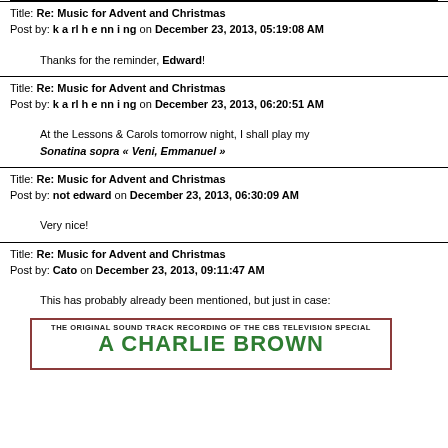Title: Re: Music for Advent and Christmas
Post by: k a rl h e nn i ng on December 23, 2013, 05:19:08 AM
Thanks for the reminder, Edward!
Title: Re: Music for Advent and Christmas
Post by: k a rl h e nn i ng on December 23, 2013, 06:20:51 AM
At the Lessons & Carols tomorrow night, I shall play my Sonatina sopra « Veni, Emmanuel »
Title: Re: Music for Advent and Christmas
Post by: not edward on December 23, 2013, 06:30:09 AM
Very nice!
Title: Re: Music for Advent and Christmas
Post by: Cato on December 23, 2013, 09:11:47 AM
This has probably already been mentioned, but just in case:
[Figure (photo): Album cover for A Charlie Brown Christmas - The Original Sound Track Recording of the CBS Television Special]